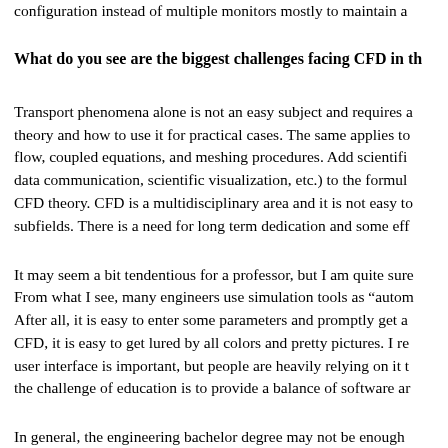configuration instead of multiple monitors mostly to maintain a
What do you see are the biggest challenges facing CFD in th
Transport phenomena alone is not an easy subject and requires a theory and how to use it for practical cases. The same applies to flow, coupled equations, and meshing procedures. Add scientific data communication, scientific visualization, etc.) to the formula CFD theory. CFD is a multidisciplinary area and it is not easy to subfields. There is a need for long term dedication and some eff
It may seem a bit tendentious for a professor, but I am quite sure From what I see, many engineers use simulation tools as “autom After all, it is easy to enter some parameters and promptly get a CFD, it is easy to get lured by all colors and pretty pictures. I re user interface is important, but people are heavily relying on it t the challenge of education is to provide a balance of software ar
In general, the engineering bachelor degree may not be enough